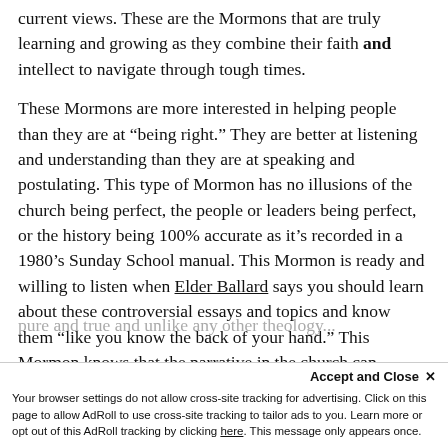current views. These are the Mormons that are truly learning and growing as they combine their faith and intellect to navigate through tough times.
These Mormons are more interested in helping people than they are at “being right.” They are better at listening and understanding than they are at speaking and postulating. This type of Mormon has no illusions of the church being perfect, the people or leaders being perfect, or the history being 100% accurate as it’s recorded in a 1980’s Sunday School manual. This Mormon is ready and willing to listen when Elder Ballard says you should learn about these controversial essays and topics and know them “like you know the back of your hand.” This Mormon knows that the narrative in the church can change over time, but that the doctrine can still remain
pure and true and unlike any other theology...
Accept and Close × Your browser settings do not allow cross-site tracking for advertising. Click on this page to allow AdRoll to use cross-site tracking to tailor ads to you. Learn more or opt out of this AdRoll tracking by clicking here. This message only appears once.